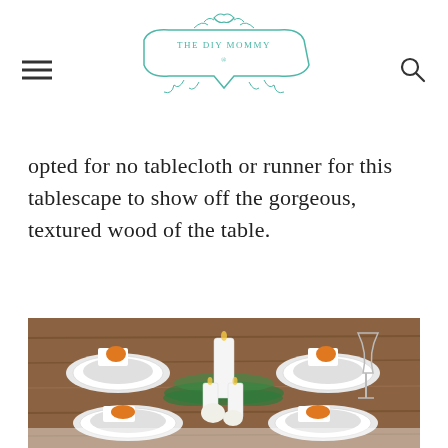THE DIY MOMMY
opted for no tablecloth or runner for this tablescape to show off the gorgeous, textured wood of the table.
[Figure (photo): A beautifully set farmhouse dining table with white candles, greenery runner, white plates with small orange pumpkin napkin holders, and wine glasses on a rustic wood table.]